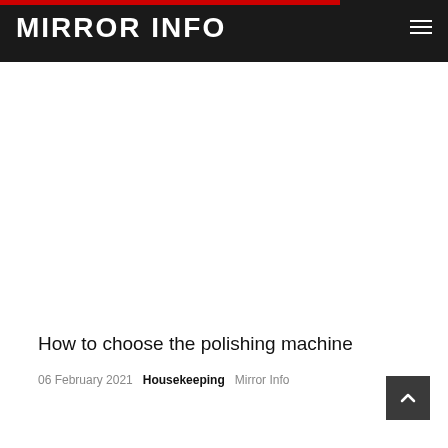MIRROR INFO
How to choose the polishing machine
06 February 2021  Housekeeping  Mirror Info